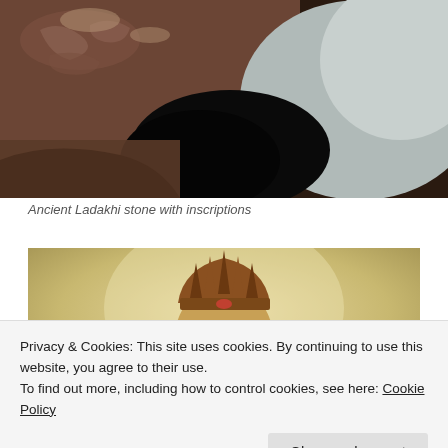[Figure (photo): Ancient Ladakhi stone with inscriptions — close-up of rock surface with carved markings, cave-like dark area and lighter stone]
Ancient Ladakhi stone with inscriptions
[Figure (photo): Buddhist statue — golden face of a deity or bodhisattva with ornate crown, hazy warm background]
Privacy & Cookies: This site uses cookies. By continuing to use this website, you agree to their use.
To find out more, including how to control cookies, see here: Cookie Policy
Close and accept